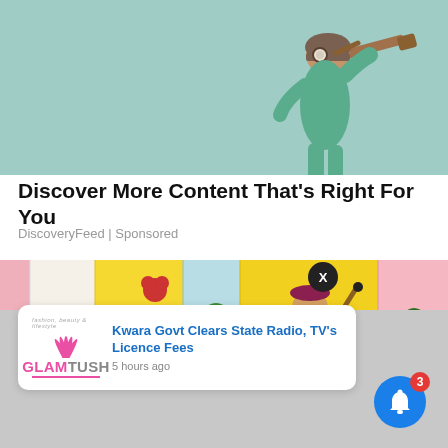[Figure (photo): Child wearing aviator helmet looking through a telescope against a teal/mint background]
Discover More Content That's Right For You
DiscoveryFeed | Sponsored
[Figure (photo): Tarot cards spread out showing colorful illustrated cards including a figure holding a staff]
[Figure (screenshot): Push notification card from Glamtush: 'Kwara Govt Clears State Radio, TV's Licence Fees' - 5 hours ago]
[Figure (other): Blue bell notification button with red badge showing count 3]